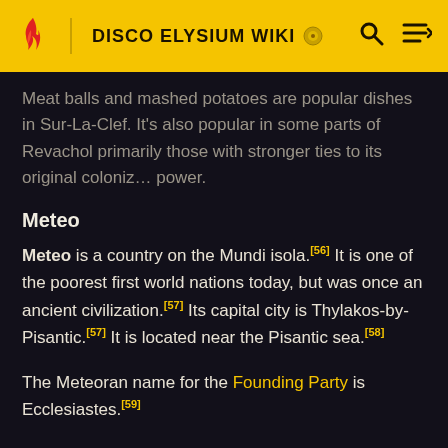DISCO ELYSIUM WIKI
Meat balls and mashed potatoes are popular dishes in Sur-La-Clef. It's also popular in some parts of Revachol primarily those with stronger ties to its original colonizing power.
Meteo
Meteo is a country on the Mundi isola.[56] It is one of the poorest first world nations today, but was once an ancient civilization.[57] Its capital city is Thylakos-by-Pisantic.[57] It is located near the Pisantic sea.[58]
The Meteoran name for the Founding Party is Ecclesiastes.[59]
Königstein